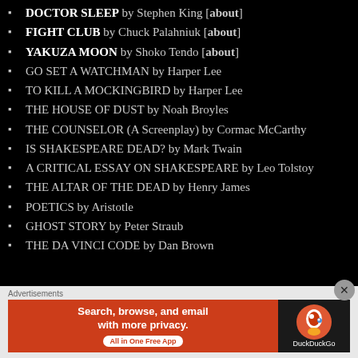DOCTOR SLEEP by Stephen King [about]
FIGHT CLUB by Chuck Palahniuk [about]
YAKUZA MOON by Shoko Tendo [about]
GO SET A WATCHMAN by Harper Lee
TO KILL A MOCKINGBIRD by Harper Lee
THE HOUSE OF DUST by Noah Broyles
THE COUNSELOR (A Screenplay) by Cormac McCarthy
IS SHAKESPEARE DEAD? by Mark Twain
A CRITICAL ESSAY ON SHAKESPEARE by Leo Tolstoy
THE ALTAR OF THE DEAD by Henry James
POETICS by Aristotle
GHOST STORY by Peter Straub
THE DA VINCI CODE by Dan Brown
Advertisements
[Figure (infographic): DuckDuckGo advertisement banner: Search, browse, and email with more privacy. All in One Free App. DuckDuckGo logo on dark background.]